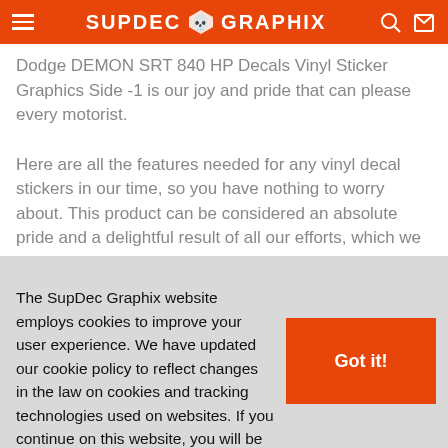SUPDEC GRAPHIX
Dodge DEMON SRT 840 HP Decals Vinyl Sticker Graphics Side -1 is our joy and pride that can please every motorist.

Here are all the features needed for any vinyl decal stickers in our time, so you have nothing to worry about. This product can be considered an absolute pride and a delightful result of all our efforts, which we are ready to show you as our dear customers. So you need to purchase these amazing
The SupDec Graphix website employs cookies to improve your user experience. We have updated our cookie policy to reflect changes in the law on cookies and tracking technologies used on websites. If you continue on this website, you will be providing your consent to our use of cookies.